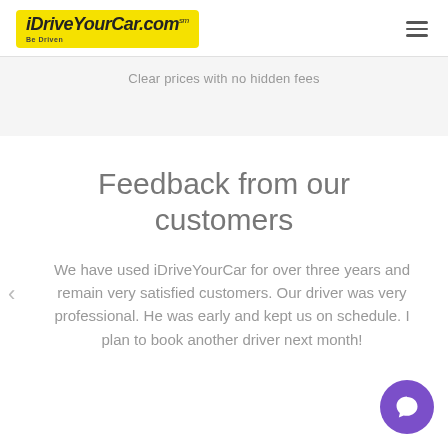[Figure (logo): iDriveYourCar.com logo with yellow background and 'Be Driven' tagline]
Clear prices with no hidden fees
Feedback from our customers
We have used iDriveYourCar for over three years and remain very satisfied customers. Our driver was very professional. He was early and kept us on schedule. I plan to book another driver next month!